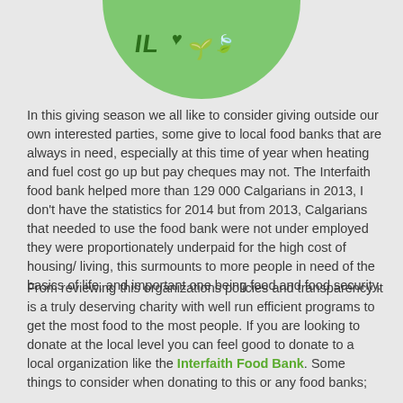[Figure (logo): Green circular logo with stylized text/graphic at top of page, partially cropped, showing bottom half of circle]
In this giving season we all like to consider giving outside our own interested parties, some give to local food banks that are always in need, especially at this time of year when heating and fuel cost go up but pay cheques may not. The Interfaith food bank helped more than 129 000 Calgarians in 2013, I don't have the statistics for 2014 but from 2013, Calgarians that needed to use the food bank were not under employed they were proportionately underpaid for the high cost of housing/ living, this surmounts to more people in need of the basics of life, and important one being food and food security.
From reviewing this organizations policies and transparency it is a truly deserving charity with well run efficient programs to get the most food to the most people. If you are looking to donate at the local level you can feel good to donate to a local organization like the Interfaith Food Bank. Some things to consider when donating to this or any food banks;